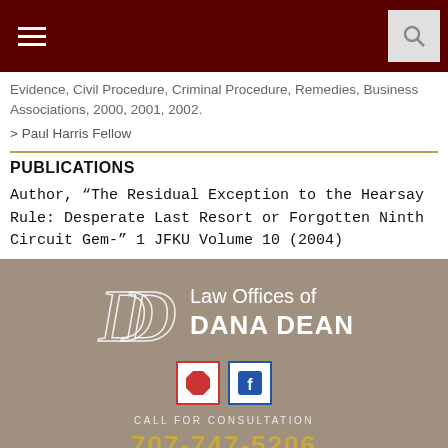Law Offices of Dana Dean - navigation bar
Evidence, Civil Procedure, Criminal Procedure, Remedies, Business Associations, 2000, 2001, 2002.
> Paul Harris Fellow
PUBLICATIONS
Author, “The Residual Exception to the Hearsay Rule: Desperate Last Resort or Forgotten Ninth Circuit Gem-” 1 JFKU Volume 10 (2004)
[Figure (logo): Law Offices of Dana Dean logo with DD monogram, social media icons, call for consultation text, and phone number 707-747-5206]
Dark red footer bar